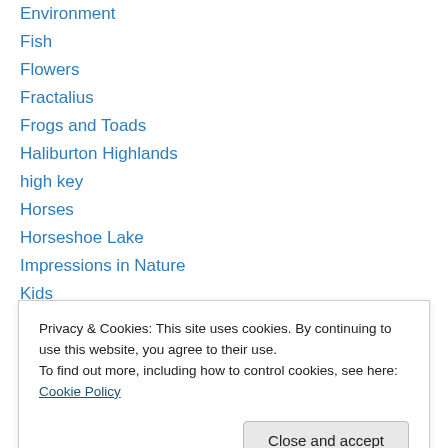Environment
Fish
Flowers
Fractalius
Frogs and Toads
Haliburton Highlands
high key
Horses
Horseshoe Lake
Impressions in Nature
Kids
Landscapes
Macro
Macro Photography
Outdoor lnstyle
Privacy & Cookies: This site uses cookies. By continuing to use this website, you agree to their use. To find out more, including how to control cookies, see here: Cookie Policy